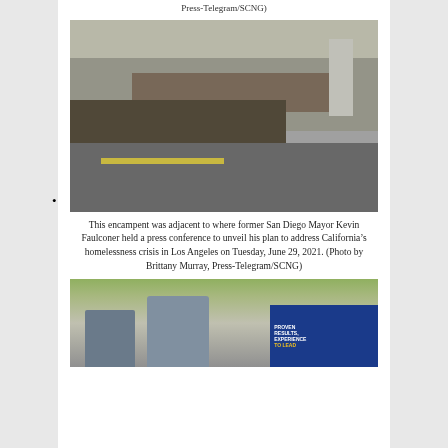Press-Telegram/SCNG)
[Figure (photo): Homeless encampment along a wall adjacent to a road, with tents, debris, and a sign visible. Los Angeles, California.]
This encampent was adjacent to where former San Diego Mayor Kevin Faulconer held a press conference to unveil his plan to address California’s homelessness crisis in Los Angeles on Tuesday, June 29, 2021. (Photo by Brittany Murray, Press-Telegram/SCNG)
[Figure (photo): Former San Diego Mayor Kevin Faulconer speaking at a press conference outdoors with a sign reading PROVEN RESULTS, EXPERIENCE TO LEAD visible to the right. Los Angeles, June 29, 2021.]